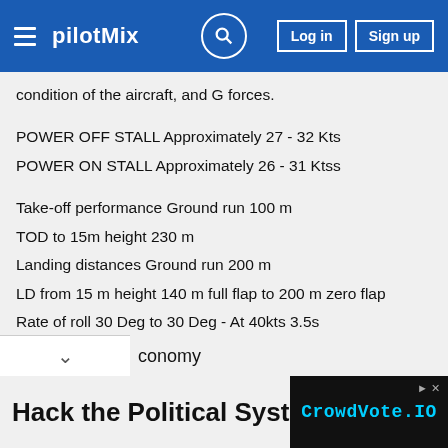pilotMix — Log in | Sign up
condition of the aircraft, and G forces.
POWER OFF STALL Approximately 27 - 32 Kts
POWER ON STALL Approximately 26 - 31 Ktss
Take-off performance Ground run 100 m
TOD to 15m height 230 m
Landing distances Ground run 200 m
LD from 15 m height 140 m full flap to 200 m zero flap
Rate of roll 30 Deg to 30 Deg - At 40kts 3.5s
Glide Ratio (L /D) 17:1
Endurance About 3 hours (with 30 litre tank)
conomy
Hack the Political System. | CrowdVote.IO